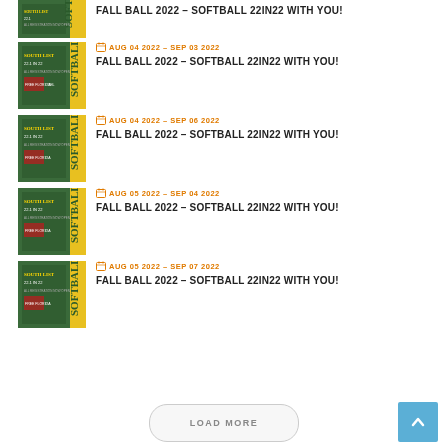[Figure (other): Softball event thumbnail - partial view at top]
FALL BALL 2022 – SOFTBALL 22IN22 WITH YOU!
[Figure (other): Softball event thumbnail]
AUG 04 2022 – SEP 03 2022
FALL BALL 2022 – SOFTBALL 22IN22 WITH YOU!
[Figure (other): Softball event thumbnail]
AUG 04 2022 – SEP 06 2022
FALL BALL 2022 – SOFTBALL 22IN22 WITH YOU!
[Figure (other): Softball event thumbnail]
AUG 05 2022 – SEP 04 2022
FALL BALL 2022 – SOFTBALL 22IN22 WITH YOU!
[Figure (other): Softball event thumbnail]
AUG 05 2022 – SEP 07 2022
FALL BALL 2022 – SOFTBALL 22IN22 WITH YOU!
LOAD MORE